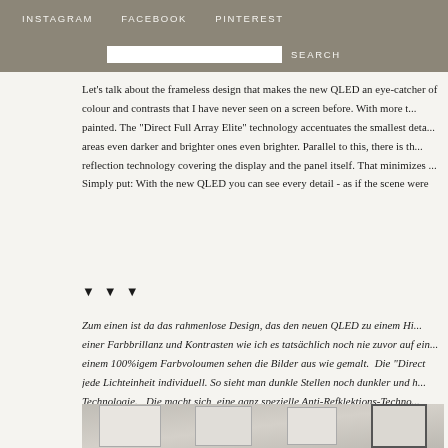INSTAGRAM   FACEBOOK   PINTEREST   SEARCH
Let's talk about the frameless design that makes the new QLED an eye-catcher of colour and contrasts that I have never seen on a screen before. With more t... painted. The "Direct Full Array Elite" technology accentuates the smallest deta... areas even darker and brighter ones even brighter. Parallel to this, there is th... reflection technology covering the display and the panel itself. That minimizes ... Simply put: With the new QLED you can see every detail - as if the scene were
▼ ▼ ▼
Zum einen ist da das rahmenlose Design, das den neuen QLED zu einem Hi... einer Farbbrillanz und Kontrasten wie ich es tatsächlich noch nie zuvor auf ein... einem 100%igem Farbvoloumen sehen die Bilder aus wie gemalt.  Die "Direct jede Lichteinheit individuell. So sieht man dunkle Stellen noch dunkler und h... Technologie.   Die macht sich  eine ganz spezielle Anti-Refklektions-Techno... Lichtreflektion auf den Bildschirm verringert. Das Resultat: ein verstärktes Ko... Einfach gesagt: Mit dem euen QLED sieht man jedes Detail - so als würde sich
[Figure (photo): Bottom portion of a room interior showing framed artwork/prints on walls]